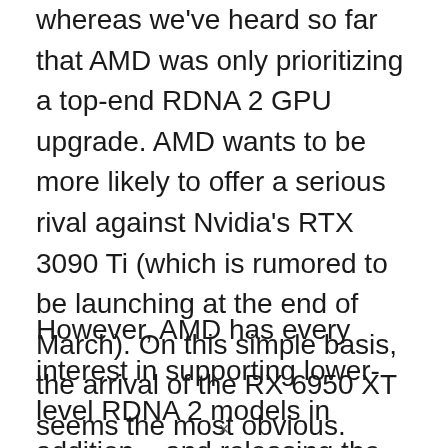whereas we've heard so far that AMD was only prioritizing a top-end RDNA 2 GPU upgrade. AMD wants to be more likely to offer a serious rival against Nvidia's RTX 3090 Ti (which is rumored to be launching at the end of March). On this simple basis, the arrival of the RX 6950 XT seems the most obvious.
However, AMD has every interest in supporting lower-level RDNA 2 models in addition – and releasing the RX 6400 more
×